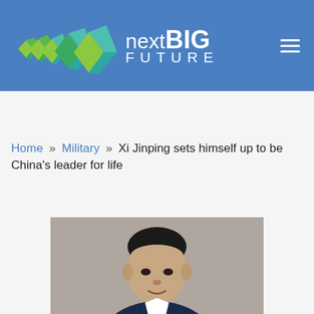nextBIG FUTURE
Home » Military » Xi Jinping sets himself up to be China's leader for life
[Figure (photo): Photo of Xi Jinping in a dark suit, shown from mid-chest up, gray blurred background]